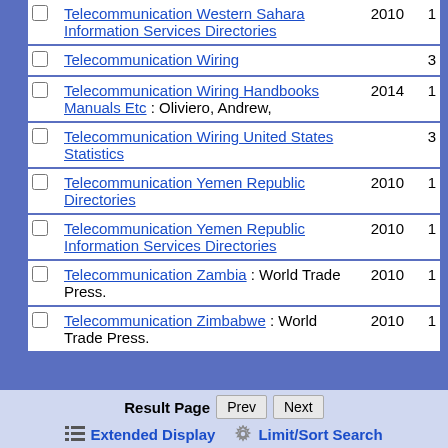|  | Title | Year | # |
| --- | --- | --- | --- |
| ☐ | Telecommunication Western Sahara Information Services Directories | 2010 | 1 |
| ☐ | Telecommunication Wiring |  | 3 |
| ☐ | Telecommunication Wiring Handbooks Manuals Etc : Oliviero, Andrew, | 2014 | 1 |
| ☐ | Telecommunication Wiring United States Statistics |  | 3 |
| ☐ | Telecommunication Yemen Republic Directories | 2010 | 1 |
| ☐ | Telecommunication Yemen Republic Information Services Directories | 2010 | 1 |
| ☐ | Telecommunication Zambia : World Trade Press. | 2010 | 1 |
| ☐ | Telecommunication Zimbabwe : World Trade Press. | 2010 | 1 |
Result Page  Prev  Next  Extended Display  Limit/Sort Search